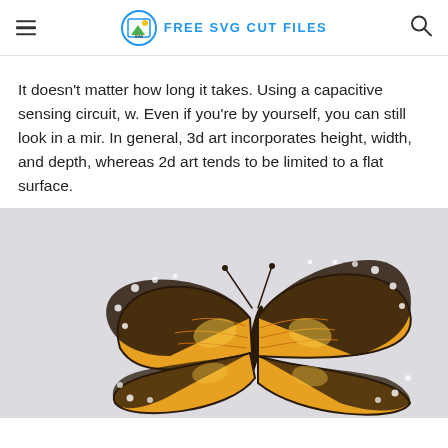FREE SVG CUT FILES
It doesn't matter how long it takes. Using a capacitive sensing circuit, w. Even if you're by yourself, you can still look in a mir. In general, 3d art incorporates height, width, and depth, whereas 2d art tends to be limited to a flat surface.
[Figure (illustration): A painted illustration of a monarch butterfly with yellow and black wings, antennae, on a light gray background.]